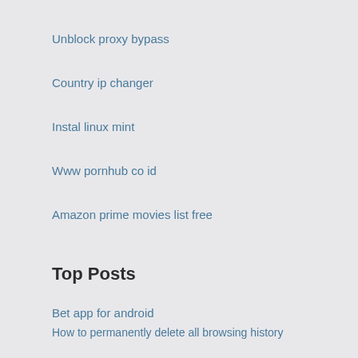Unblock proxy bypass
Country ip changer
Instal linux mint
Www pornhub co id
Amazon prime movies list free
Top Posts
Bet app for android
How to permanently delete all browsing history
How can you delete your email account
Download vpn mac
Apple ipad encryption